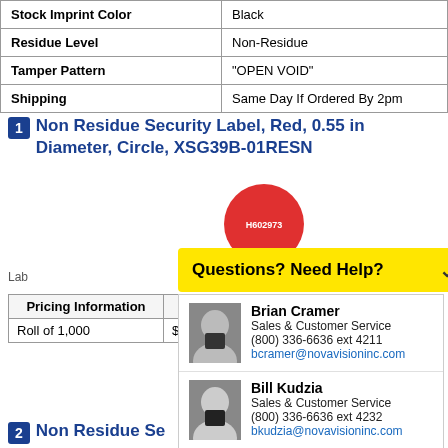| Property | Value |
| --- | --- |
| Stock Imprint Color | Black |
| Residue Level | Non-Residue |
| Tamper Pattern | "OPEN VOID" |
| Shipping | Same Day If Ordered By 2pm |
1 Non Residue Security Label, Red, 0.55 in Diameter, Circle, XSG39B-01RESN
[Figure (illustration): Red circular security label showing serial number H602973]
Questions? Need Help?
Brian Cramer
Sales & Customer Service
(800) 336-6636 ext 4211
bcramer@novavisioninc.com
Bill Kudzia
Sales & Customer Service
(800) 336-6636 ext 4232
bkudzia@novavisioninc.com
Label
| Pricing Information | 1+ |
| --- | --- |
| Roll of 1,000 | $99 |
2 Non Residue Se